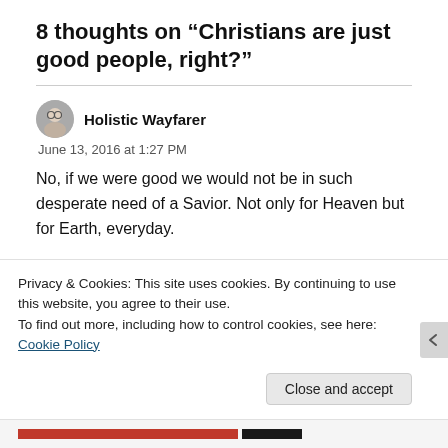8 thoughts on “Christians are just good people, right?”
Holistic Wayfarer
June 13, 2016 at 1:27 PM

No, if we were good we would not be in such desperate need of a Savior. Not only for Heaven but for Earth, everyday.
Privacy & Cookies: This site uses cookies. By continuing to use this website, you agree to their use.
To find out more, including how to control cookies, see here: Cookie Policy